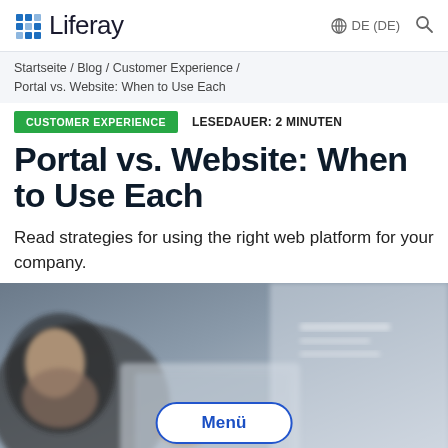Liferay | DE (DE)
Startseite / Blog / Customer Experience / Portal vs. Website: When to Use Each
CUSTOMER EXPERIENCE   LESEDAUER: 2 MINUTEN
Portal vs. Website: When to Use Each
Read strategies for using the right web platform for your company.
[Figure (photo): Person sitting at a desk working with a tablet, blurred background, with a Menü button overlay]
Menü